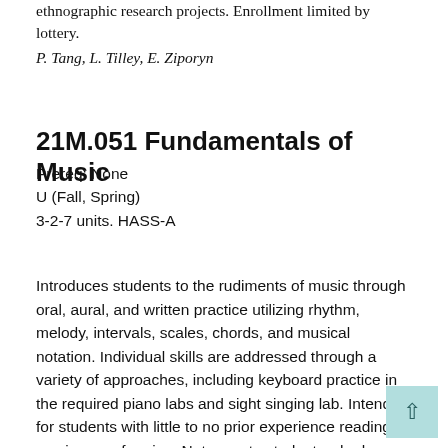ethnographic research projects. Enrollment limited by lottery.
P. Tang, L. Tilley, E. Ziporyn
21M.051 Fundamentals of Music
Prereq: None
U (Fall, Spring)
3-2-7 units. HASS-A
Introduces students to the rudiments of music through oral, aural, and written practice utilizing rhythm, melody, intervals, scales, chords, and musical notation. Individual skills are addressed through a variety of approaches, including keyboard practice in the required piano labs and sight singing lab. Intended for students with little to no prior experience reading music or performing. Not open to students who have completed 21M.150, 21M.151, 21M.301, or are participating in a performance ensemble where written music is employed. Limited to 20 per section by